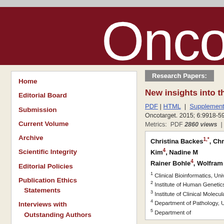Onco
Home
Editorial Board
Submission
Current Volume
Archive
Scientific Integrity
Editorial Policies
Publication Ethics Statements
Interviews with Outstanding Authors
Oncotarget In The News
Search
Contact Information
Special Collections
Research Papers:
New insights into the geneti
PDF | HTML | Supplementary Files
Oncotarget. 2015; 6:9918-5931. http
Metrics: PDF 2860 views | HTML 27
Christina Backes1,*, Christian Harz..., Mueller1,2, Yoo-Jin Kim4, Nadine M..., Rainer Bohle4, Wolfram Henn2, No...
1 Clinical Bioinformatics, University o
2 Institute of Human Genetics, Univer
3 Institute of Clinical Molecular Biolog
4 Department of Pathology, University
5 Department of...